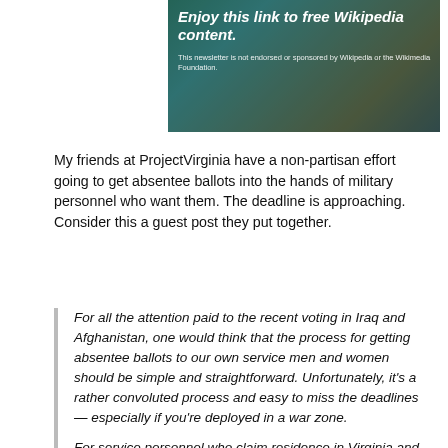[Figure (illustration): Banner image with waterfall/nature background and text overlay: 'Enjoy this link to free Wikipedia content.' with disclaimer 'This newsletter is not endorsed or sponsored by Wikipedia or the Wikimedia Foundation.']
My friends at ProjectVirginia have a non-partisan effort going to get absentee ballots into the hands of military personnel who want them. The deadline is approaching. Consider this a guest post they put together.
For all the attention paid to the recent voting in Iraq and Afghanistan, one would think that the process for getting absentee ballots to our own service men and women should be simple and straightforward. Unfortunately, it's a rather convoluted process and easy to miss the deadlines — especially if you're deployed in a war zone.
For service personnel who claim residence in Virginia and New Jersey, this is a pressing issue, as the deadlines for requesting ballots for the statewide elections this November are fast approaching. A couple of organizations in Virginia, the Dominion Leadership Trust and ProjectVirginia are working to publicize how service men and women can participate in the statewide 1000 elections...